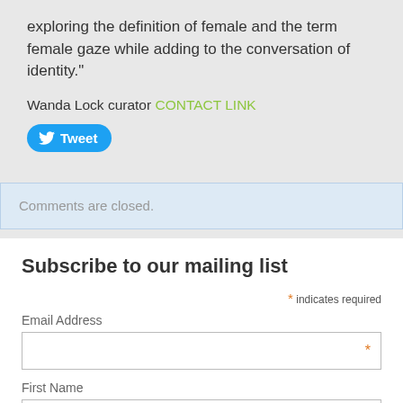exploring the definition of female and the term female gaze while adding to the conversation of identity."
Wanda Lock curator CONTACT LINK
[Figure (other): Twitter Tweet button (blue rounded button with bird icon and 'Tweet' text)]
Comments are closed.
Subscribe to our mailing list
* indicates required
Email Address
First Name